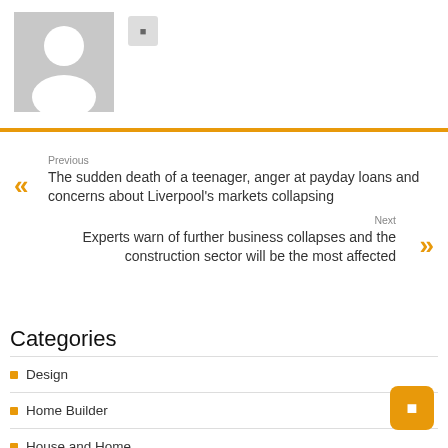[Figure (illustration): Grey avatar placeholder image with a generic person silhouette icon]
Previous
The sudden death of a teenager, anger at payday loans and concerns about Liverpool's markets collapsing
Next
Experts warn of further business collapses and the construction sector will be the most affected
Categories
Design
Home Builder
House and Home